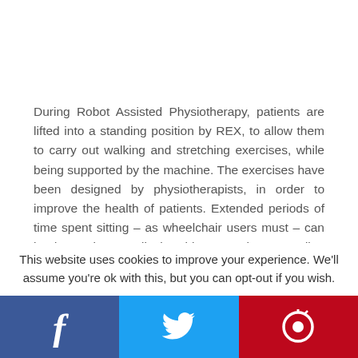During Robot Assisted Physiotherapy, patients are lifted into a standing position by REX, to allow them to carry out walking and stretching exercises, while being supported by the machine. The exercises have been designed by physiotherapists, in order to improve the health of patients. Extended periods of time spent sitting – as wheelchair users must – can lead to various medical problems, so these standing exercises can help
This website uses cookies to improve your experience. We'll assume you're ok with this, but you can opt-out if you wish.